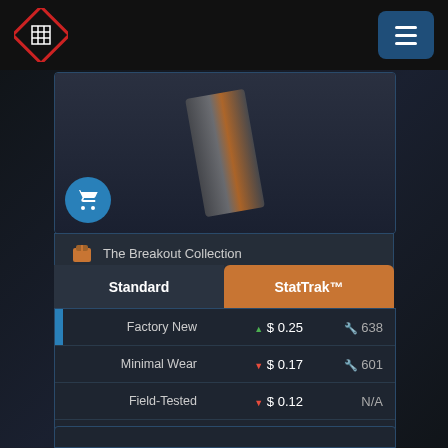[Figure (screenshot): Navigation bar with logo (diamond with grid pattern, red border) on left and hamburger menu button (dark blue) on right]
[Figure (screenshot): Game item marketplace UI showing The Breakout Collection item with Standard and StatTrak tabs, and price table with wear conditions]
| Condition | Price | Count |
| --- | --- | --- |
| Factory New | $ 0.25 | 638 |
| Minimal Wear | $ 0.17 | 601 |
| Field-Tested | $ 0.12 | N/A |
| Well-Worn | $ 0.12 | N/A |
| Battle-Scarred | $ 0.12 | 298 |